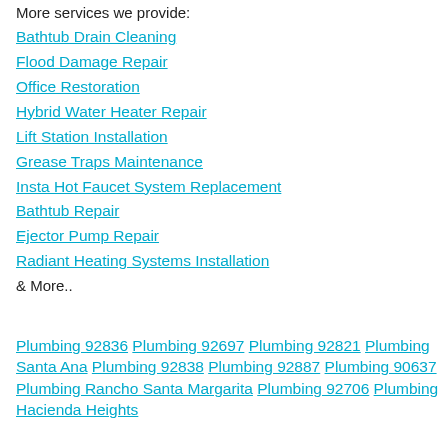More services we provide:
Bathtub Drain Cleaning
Flood Damage Repair
Office Restoration
Hybrid Water Heater Repair
Lift Station Installation
Grease Traps Maintenance
Insta Hot Faucet System Replacement
Bathtub Repair
Ejector Pump Repair
Radiant Heating Systems Installation
& More..
Plumbing 92836 Plumbing 92697 Plumbing 92821 Plumbing Santa Ana Plumbing 92838 Plumbing 92887 Plumbing 90637 Plumbing Rancho Santa Margarita Plumbing 92706 Plumbing Hacienda Heights